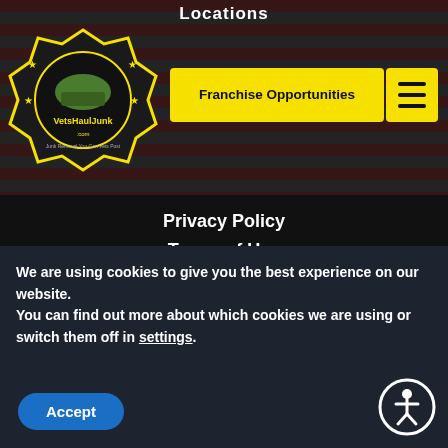Locations
[Figure (logo): VetsHaulJunk.com logo — military helmet in star/shield badge with yellow and green colors]
Franchise Opportunities
Privacy Policy
Terms of Use
Accessibility Statement
Contact Info
info@vetshauljunk.com
Open 7 Days A Week
We are using cookies to give you the best experience on our website.
You can find out more about which cookies we are using or switch them off in settings.
Accept